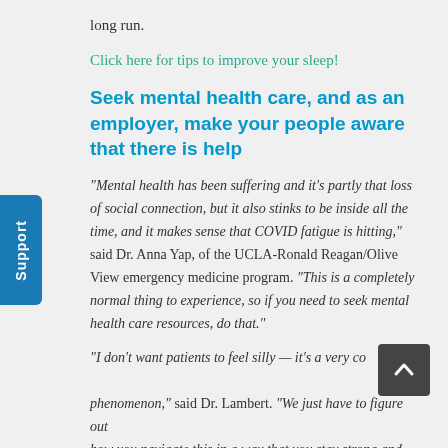long run.
Click here for tips to improve your sleep!
Seek mental health care, and as an employer, make your people aware that there is help
"Mental health has been suffering and it’s partly that loss of social connection, but it also stinks to be inside all the time, and it makes sense that COVID fatigue is hitting," said Dr. Anna Yap, of the UCLA-Ronald Reagan/Olive View emergency medicine program. “This is a completely normal thing to experience, so if you need to seek mental health care resources, do that.”
“I don’t want patients to feel silly — it’s a very common phenomenon,” said Dr. Lambert. “We just have to figure out how you navigate this in a way that you stay strong and